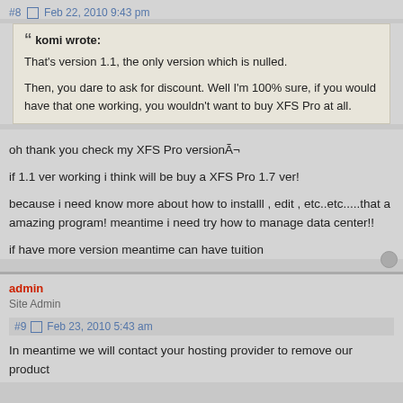#8  Feb 22, 2010 9:43 pm
komi wrote:
That's version 1.1, the only version which is nulled.

Then, you dare to ask for discount. Well I'm 100% sure, if you would have that one working, you wouldn't want to buy XFS Pro at all.
oh thank you check my XFS Pro versionÃ¬
if 1.1 ver working i think will be buy a XFS Pro 1.7 ver!
because i need know more about how to installl , edit , etc..etc.....that a amazing program! meantime i need try how to manage data center!!
if have more version meantime can have tuition
admin
Site Admin
#9  Feb 23, 2010 5:43 am
In meantime we will contact your hosting provider to remove our product